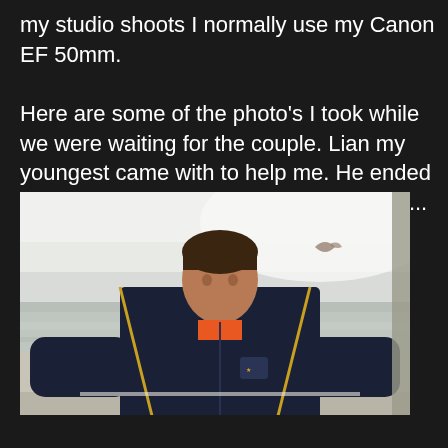my studio shoots I normally use my Canon EF 50mm.

Here are some of the photo's I took while we were waiting for the couple. Lian my youngest came with to help me. He ended up carrying  props, backpack and shoes...
[Figure (photo): A boy wearing a dark navy/black tracksuit jacket with yellow/gold trim and an orange shirt underneath, standing outdoors at a beach location. The sea and sky are visible in the background. A watermark reading 'Capture Ninja Photography' is visible in the bottom left. A kite or bird is visible in the sky above.]